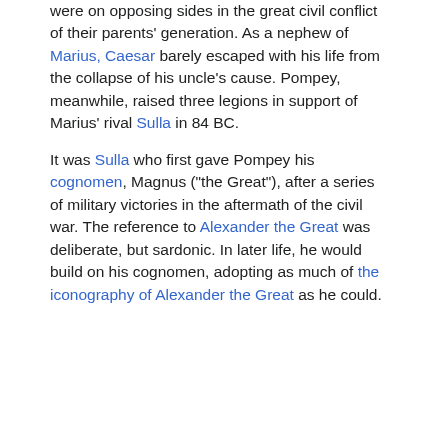were on opposing sides in the great civil conflict of their parents' generation. As a nephew of Marius, Caesar barely escaped with his life from the collapse of his uncle's cause. Pompey, meanwhile, raised three legions in support of Marius' rival Sulla in 84 BC.
It was Sulla who first gave Pompey his cognomen, Magnus ("the Great"), after a series of military victories in the aftermath of the civil war. The reference to Alexander the Great was deliberate, but sardonic. In later life, he would build on his cognomen, adopting as much of the iconography of Alexander the Great as he could.